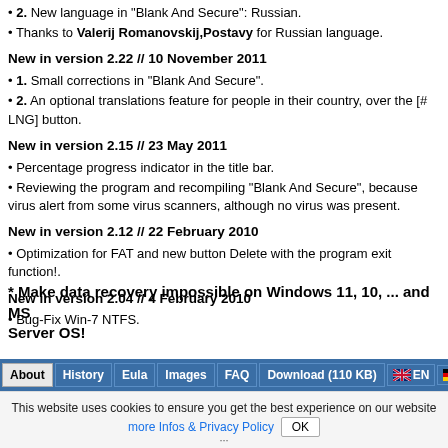• 2. New language in "Blank And Secure": Russian.
• Thanks to Valerij Romanovskij,Postavy for Russian language.
New in version 2.22 // 10 November 2011
• 1. Small corrections in "Blank And Secure".
• 2. An optional translations feature for people in their country, over the [# LNG] button.
New in version 2.15 // 23 May 2011
• Percentage progress indicator in the title bar.
• Reviewing the program and recompiling "Blank And Secure", because virus alert from some virus scanners, although no virus was present.
New in version 2.12 // 22 February 2010
• Optimization for FAT and new button Delete with the program exit function!.
New in version 2.04 // 4 February 2010
• Bug-Fix Win-7 NTFS.
* Make data recovery impossible on Windows 11, 10, ... and MS Server OS!
This website uses cookies to ensure you get the best experience on our website more Infos & Privacy Policy  OK